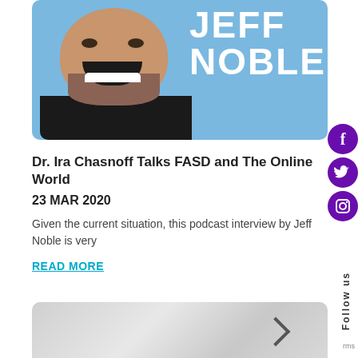[Figure (photo): Jeff Noble podcast cover image: man with beard and open smile on blue background with 'JEFF NOBLE' text in white]
Dr. Ira Chasnoff Talks FASD and The Online World
23 MAR 2020
Given the current situation, this podcast interview by Jeff Noble is very
READ MORE
[Figure (photo): Partial bottom image, light gray/silver gradient, partially visible]